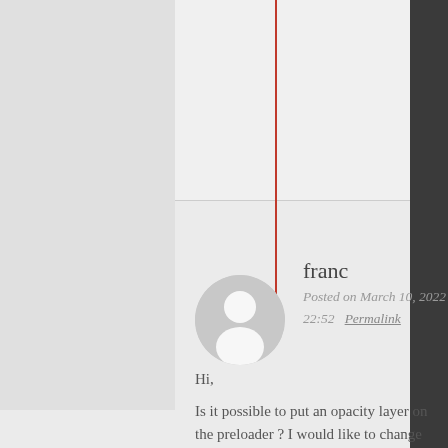[Figure (illustration): User avatar silhouette — gray circle with white person icon]
franc
Posted on March 10, 2022 at 22:52   Permalink
Hi,
Is it possible to put an opacity layer on the preloader ? I would like to change that opacity to be a full color, so the preloader